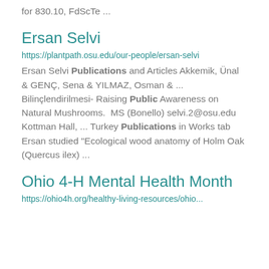for 830.10, FdScTe ...
Ersan Selvi
https://plantpath.osu.edu/our-people/ersan-selvi
Ersan Selvi Publications and Articles Akkemik, Ünal & GENÇ, Sena & YILMAZ, Osman & ... Bilinçlendirilmesi- Raising Public Awareness on Natural Mushrooms.  MS (Bonello) selvi.2@osu.edu Kottman Hall, ... Turkey Publications in Works tab Ersan studied "Ecological wood anatomy of Holm Oak (Quercus ilex) ...
Ohio 4-H Mental Health Month
https://ohio4h.org/healthy-living-resources/ohio...